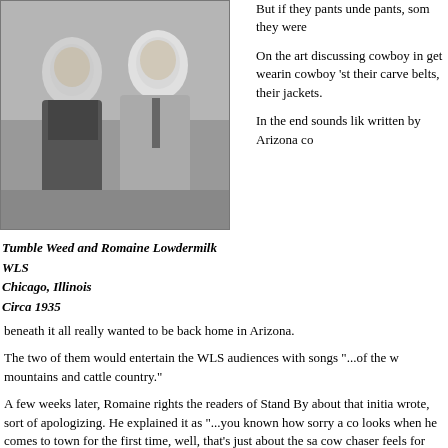[Figure (photo): Black and white photograph of two people, Tumble Weed and Romaine Lowdermilk, smiling at the camera]
Tumble Weed and Romaine Lowdermilk
WLS
Chicago, Illinois
Circa 1935
But if they pants unde pants, som they were
On the art discussing cowboy in get wearin cowboy 'st their carve belts, their jackets.
In the end sounds lik written by Arizona co
beneath it all really wanted to be back home in Arizona.
The two of them would entertain the WLS audiences with songs "...of the w mountains and cattle country."
A few weeks later, Romaine rights the readers of Stand By about that initia wrote, sort of apologizing. He explained it as "...you known how sorry a co looks when he comes to town for the first time, well, that's just about the sa cow chaser feels for the first few weeks."
Romaine painted a pretty harsh picture of what he saw, compared to the li Arizona. He wrote of the "dirty and littered up the town looked" and said th